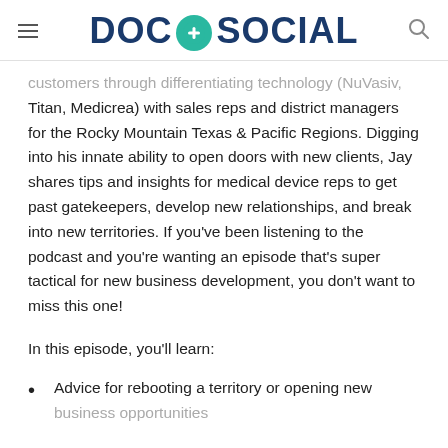DOC + SOCIAL
customers through differentiating technology (NuVasiv, Titan, Medicrea) with sales reps and district managers for the Rocky Mountain Texas & Pacific Regions. Digging into his innate ability to open doors with new clients, Jay shares tips and insights for medical device reps to get past gatekeepers, develop new relationships, and break into new territories. If you've been listening to the podcast and you're wanting an episode that's super tactical for new business development, you don't want to miss this one!
In this episode, you'll learn:
Advice for rebooting a territory or opening new business opportunities